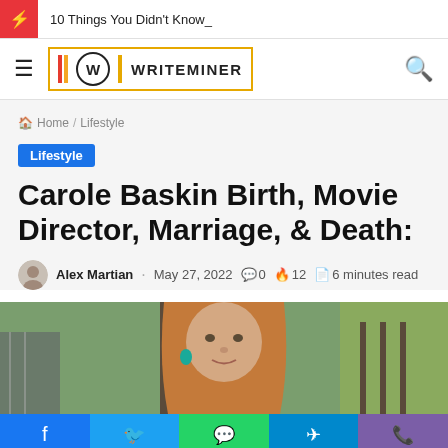10 Things You Didn't Know_
[Figure (logo): WRITEMINER logo with W in circle, red/orange/yellow stripes, yellow border]
Home / Lifestyle
Lifestyle
Carole Baskin Birth, Movie Director, Marriage, & Death:
Alex Martian · May 27, 2022 💬0 🔥12 📄6 minutes read
[Figure (photo): Photo of Carole Baskin, a woman with long reddish-blonde hair outdoors near a tree]